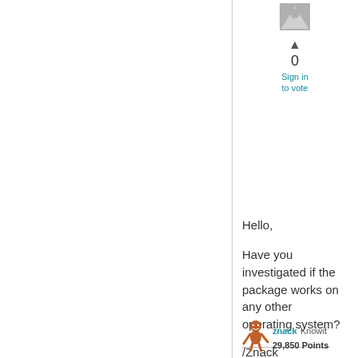[Figure (other): User avatar placeholder (gray silhouette triangle)]
0
Sign in to vote
Hello,
Have you investigated if the package works on any other operating system?
/Znack
Wednesday, September 21, 2011 2:55 PM
[Figure (illustration): Small cartoon character/mascot icon (brownish figure)]
znack Knowit 29,850 Points